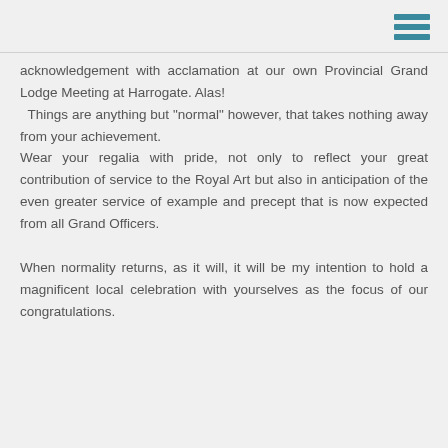acknowledgement with acclamation at our own Provincial Grand Lodge Meeting at Harrogate. Alas!
  Things are anything but "normal" however, that takes nothing away from your achievement.
Wear your regalia with pride, not only to reflect your great contribution of service to the Royal Art but also in anticipation of the even greater service of example and precept that is now expected from all Grand Officers.
When normality returns, as it will, it will be my intention to hold a magnificent local celebration with yourselves as the focus of our congratulations.